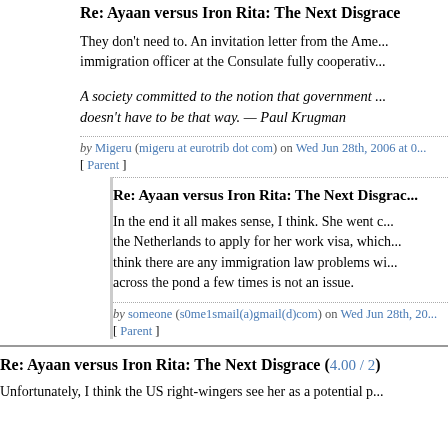Re: Ayaan versus Iron Rita: The Next Disgrace
They don't need to. An invitation letter from the Ame... immigration officer at the Consulate fully cooperativ...
A society committed to the notion that government ... doesn't have to be that way. — Paul Krugman
by Migeru (migeru at eurotrib dot com) on Wed Jun 28th, 2006 at 0...
[ Parent ]
Re: Ayaan versus Iron Rita: The Next Disgrace
In the end it all makes sense, I think. She went c... the Netherlands to apply for her work visa, which... think there are any immigration law problems wi... across the pond a few times is not an issue.
by someone (s0me1smail(a)gmail(d)com) on Wed Jun 28th, 20...
[ Parent ]
Re: Ayaan versus Iron Rita: The Next Disgrace (4.00 / 2)
Unfortunately, I think the US right-wingers see her as a potential p...